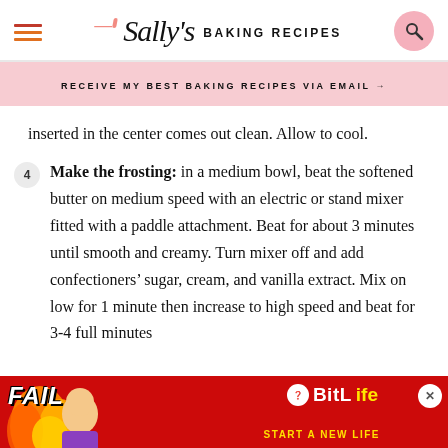Sally's Baking Recipes
RECEIVE MY BEST BAKING RECIPES VIA EMAIL →
inserted in the center comes out clean. Allow to cool.
4 Make the frosting: in a medium bowl, beat the softened butter on medium speed with an electric or stand mixer fitted with a paddle attachment. Beat for about 3 minutes until smooth and creamy. Turn mixer off and add confectioners' sugar, cream, and vanilla extract. Mix on low for 1 minute then increase to high speed and beat for 3-4 full minutes
[Figure (screenshot): BitLife advertisement banner with FAIL text and START A NEW LIFE tagline]